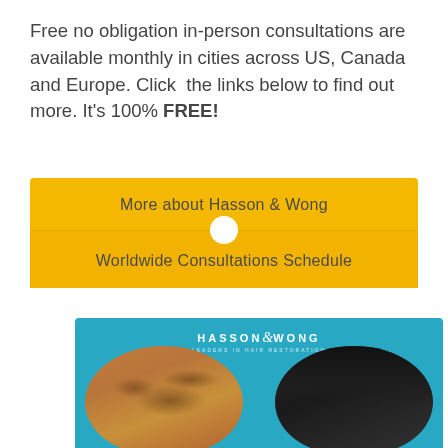Free no obligation in-person consultations are available monthly in cities across US, Canada and Europe. Click the links below to find out more. It's 100% FREE!
More about Hasson & Wong
Worldwide Consultations Schedule
[Figure (photo): Before and after photo of a hair transplant patient showing balding scalp on the left and full hair growth on the right, with Hasson & Wong logo on a blue background.]